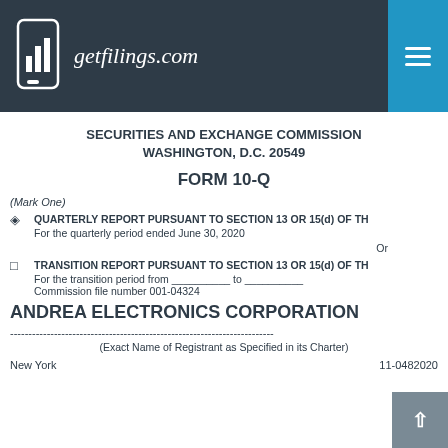[Figure (logo): getfilings.com logo with phone/bar-chart icon on dark background header]
SECURITIES AND EXCHANGE COMMISSION
WASHINGTON, D.C. 20549
FORM 10-Q
(Mark One)
☒  QUARTERLY REPORT PURSUANT TO SECTION 13 OR 15(d) OF TH
For the quarterly period ended June 30, 2020
Or
☐  TRANSITION REPORT PURSUANT TO SECTION 13 OR 15(d) OF TH
For the transition period from __________ to __________
Commission file number 001-04324
ANDREA ELECTRONICS CORPORATION
------------------------------------------------------------------------
(Exact Name of Registrant as Specified in its Charter)
New York                                    11-0482020